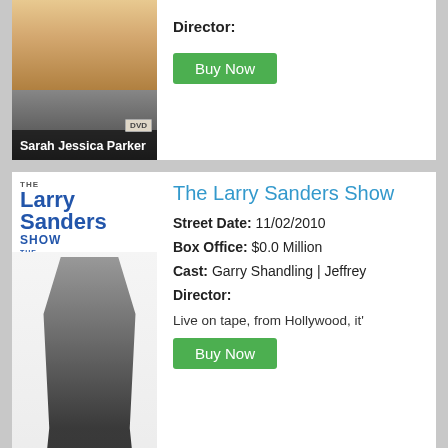[Figure (photo): DVD cover of Sarah Jessica Parker movie/show, partially visible at top]
Director:
Buy Now
The Larry Sanders Show
Street Date:  11/02/2010
Box Office:  $0.0 Million
Cast:  Garry Shandling | Jeffrey
Director:
Live on tape, from Hollywood, it'
Buy Now
Sex and the City 2
Theatrical Release Date:  05/2
Street Date:  10/26/2010
Box Office:  $95.2 Million